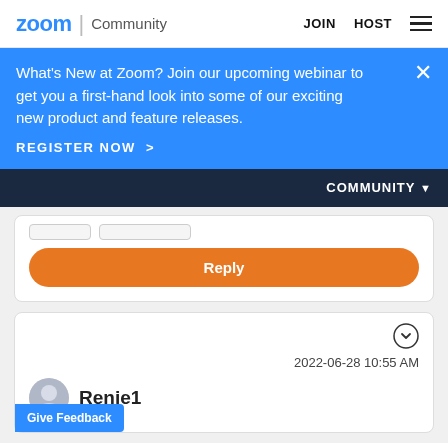zoom Community  JOIN  HOST
What's New at Zoom? Join our upcoming webinar to get you a first-hand look into some of our exciting new product and feature releases.
REGISTER NOW >
COMMUNITY ▾
[Figure (screenshot): Reply button (orange rounded rectangle) in a forum post card]
[Figure (screenshot): Forum comment card showing date 2022-06-28 10:55 AM, username Renie1, with a Give Feedback tab]
2022-06-28 10:55 AM
Renie1
Give Feedback